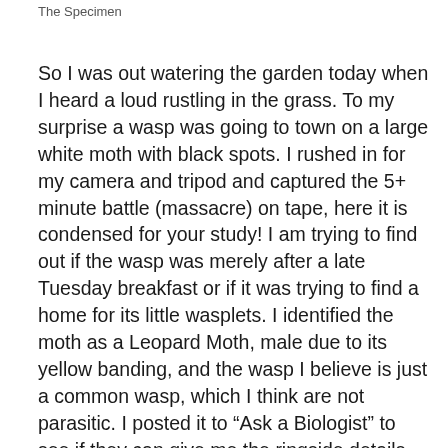The Specimen
So I was out watering the garden today when I heard a loud rustling in the grass. To my surprise a wasp was going to town on a large white moth with black spots. I rushed in for my camera and tripod and captured the 5+ minute battle (massacre) on tape, here it is condensed for your study! I am trying to find out if the wasp was merely after a late Tuesday breakfast or if it was trying to find a home for its little wasplets. I identified the moth as a Leopard Moth, male due to its yellow banding, and the wasp I believe is just a common wasp, which I think are not parasitic. I posted it to “Ask a Biologist” to see if they can give me the ringside details. In certain moments it looks like the wasp is stinging the moth, in another about half way through the video the wasp goes to the moths